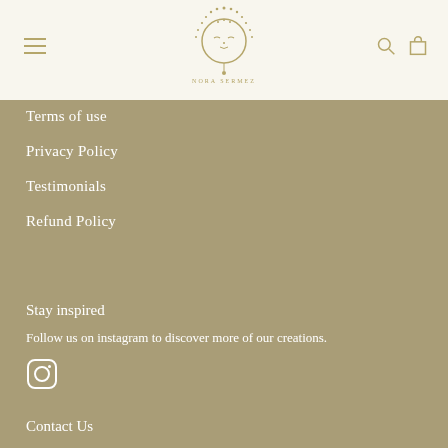Nora Sermez — site header with logo, hamburger menu, search and cart icons
Terms of use
Privacy Policy
Testimonials
Refund Policy
Stay inspired
Follow us on instagram to discover more of our creations.
[Figure (logo): Instagram icon (rounded square outline with circle and dot)]
Contact Us